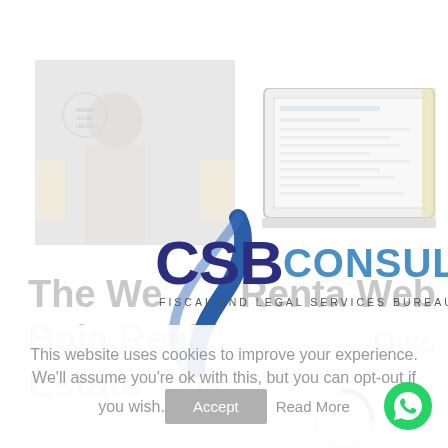[Figure (screenshot): Faded screenshot of a woman at an event on the left, and a laptop screenshot on the right, forming background imagery for the CSB Consulting website]
[Figure (logo): CSB Consulting logo with a blue swoosh/pen graphic, bold dark-blue CSB text, blue CONSULTING.es text, and tagline FISCAL AND LEGAL SERVICES BUREAU]
The We
Baja Real
Estate Talk
Renta Web
Ows
This website uses cookies to improve your experience. We'll assume you're ok with this, but you can opt-out if you wish.
Accept   Read More